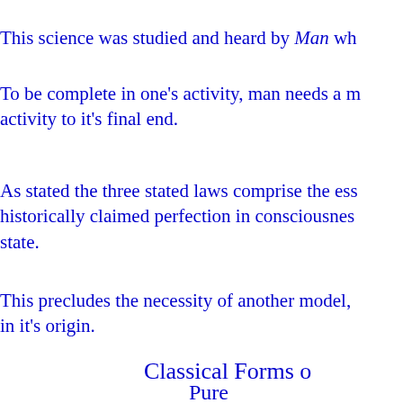This science was studied and heard by Man wh
To be complete in one's activity, man needs a m activity to it's final end.
As stated the three stated laws comprise the ess historically claimed perfection in consciousness state.
This precludes the necessity of another model, in it's origin.
Classical Forms o
Pure